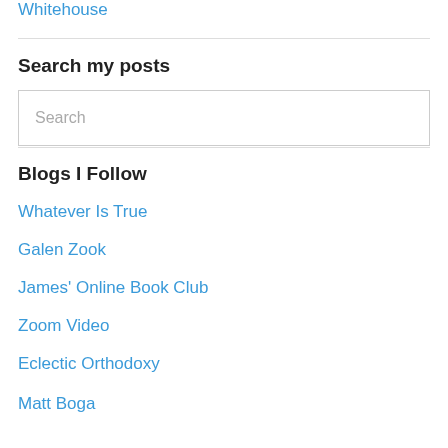Whitehouse
Search my posts
Search
Blogs I Follow
Whatever Is True
Galen Zook
James' Online Book Club
Zoom Video
Eclectic Orthodoxy
Matt Boga